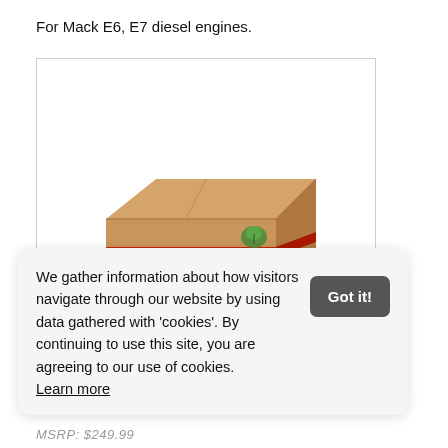For Mack E6, E7 diesel engines.
[Figure (photo): A cardboard box labeled 'TWISTER Engine Stand' with a red stripe and a green logo, shown against a white background.]
We gather information about how visitors navigate through our website by using data gathered with 'cookies'. By continuing to use this site, you are agreeing to our use of cookies. Learn more
MSRP: $249.99